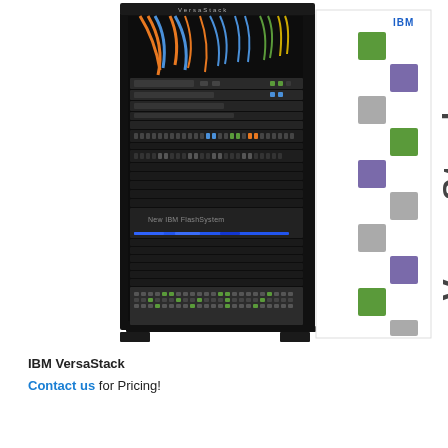[Figure (photo): IBM VersaStack server rack with open front showing cable management, servers, IBM FlashSystem storage, and patch panels. The right side of the rack has a white panel with IBM VersaStack branding showing colored squares (green, purple, gray) in a grid pattern and 'VersaStack' text written vertically.]
IBM VersaStack
Contact us for Pricing!